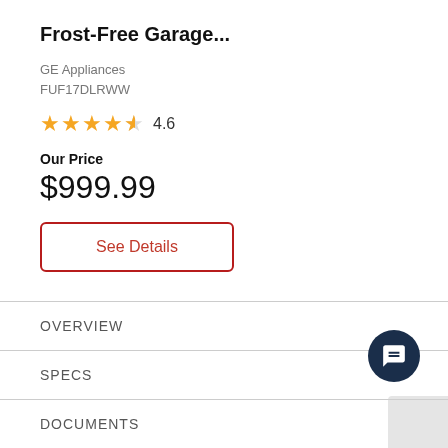Frost-Free Garage...
GE Appliances
FUF17DLRWW
[Figure (other): Star rating: 4.6 out of 5 stars (4 full stars, 1 partial/half star, rating number 4.6)]
Our Price
$999.99
See Details
OVERVIEW
SPECS
DOCUMENTS